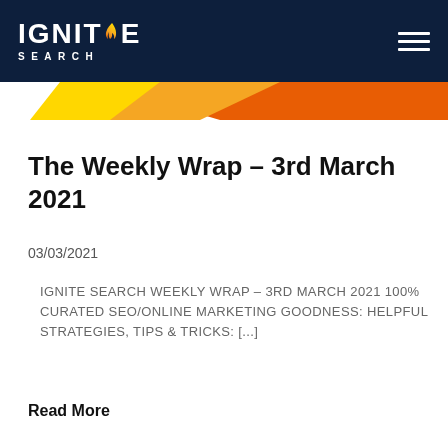IGNITE SEARCH
[Figure (illustration): Diagonal orange and gold accent stripe banner below the navigation header]
The Weekly Wrap – 3rd March 2021
03/03/2021
IGNITE SEARCH WEEKLY WRAP – 3RD MARCH 2021 100% CURATED SEO/ONLINE MARKETING GOODNESS: HELPFUL STRATEGIES, TIPS & TRICKS: [...]
Read More